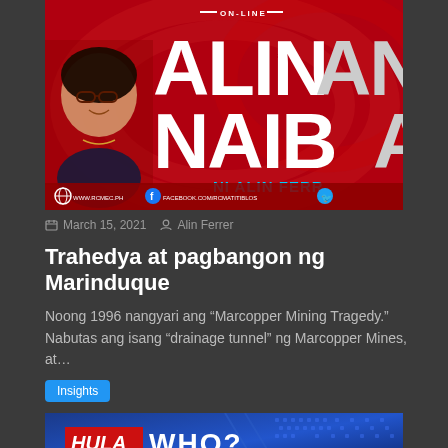[Figure (photo): Banner image for 'Alin ang Naiba' online show featuring a woman with glasses on a red background with large white text 'ALIN ang NAIB' and 'NI ALIN FERR' in blue, with social media icons at the bottom.]
March 15, 2021  Alin Ferrer
Trahedya at pagbangon ng Marinduque
Noong 1996 nangyari ang “Marcopper Mining Tragedy.” Nabutas ang isang “drainage tunnel” ng Marcopper Mines, at…
Insights
[Figure (photo): Bottom banner showing 'HULA WHO?' text on a blue gradient background with geometric patterns.]